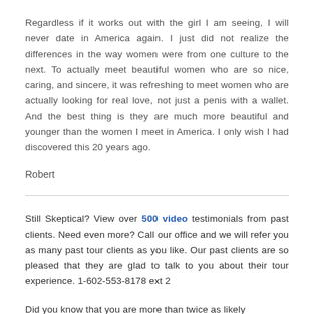Regardless if it works out with the girl I am seeing, I will never date in America again. I just did not realize the differences in the way women were from one culture to the next. To actually meet beautiful women who are so nice, caring, and sincere, it was refreshing to meet women who are actually looking for real love, not just a penis with a wallet. And the best thing is they are much more beautiful and younger than the women I meet in America. I only wish I had discovered this 20 years ago.
Robert
Still Skeptical? View over 500 video testimonials from past clients. Need even more? Call our office and we will refer you as many past tour clients as you like. Our past clients are so pleased that they are glad to talk to you about their tour experience. 1-602-553-8178 ext 2
Did you know that you are more than twice as likely